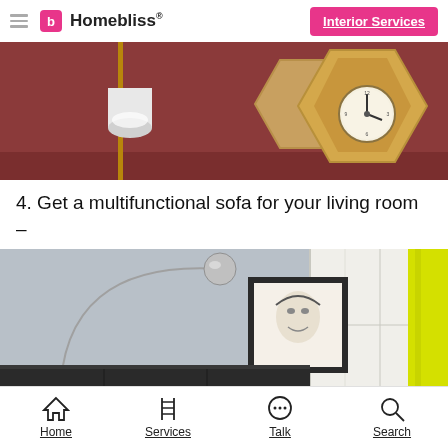Homebliss® | Interior Services
[Figure (photo): Interior decoration photo showing hexagonal wooden shelves on a dark red/mauve wall with a clock and a white lamp on a gold stand]
4. Get a multifunctional sofa for your living room –
[Figure (photo): Living room photo with a dark sofa, arc floor lamp with chrome ball base, a framed portrait sketch on the wall, and a bright yellow curtain on the right side]
Home | Services | Talk | Search